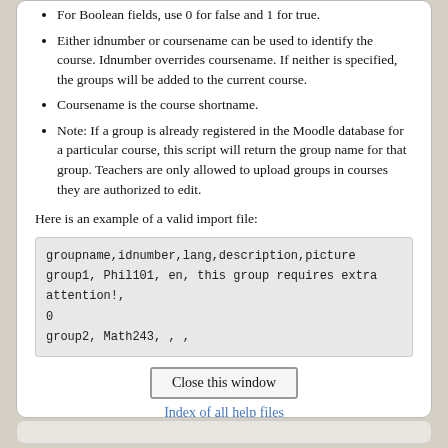For Boolean fields, use 0 for false and 1 for true.
Either idnumber or coursename can be used to identify the course. Idnumber overrides coursename. If neither is specified, the groups will be added to the current course.
Coursename is the course shortname.
Note: If a group is already registered in the Moodle database for a particular course, this script will return the group name for that group. Teachers are only allowed to upload groups in courses they are authorized to edit.
Here is an example of a valid import file:
groupname,idnumber,lang,description,picture
group1, Phil101, en, this group requires extra attention!,
0
group2, Math243, , ,
Close this window
Index of all help files